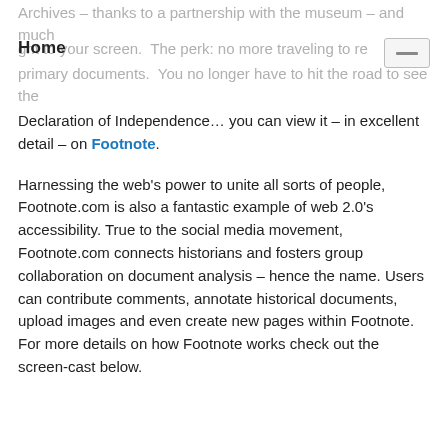Archives – thanks to a partnership with the museum – and much Home ght to your screen.  The perk: no more traveling to re— primary documents.  You no longer have to hit the road to see the
Declaration of Independence… you can view it – in excellent detail – on Footnote.
Harnessing the web's power to unite all sorts of people, Footnote.com is also a fantastic example of web 2.0's accessibility. True to the social media movement, Footnote.com connects historians and fosters group collaboration on document analysis – hence the name. Users can contribute comments, annotate historical documents, upload images and even create new pages within Footnote. For more details on how Footnote works check out the screen-cast below.